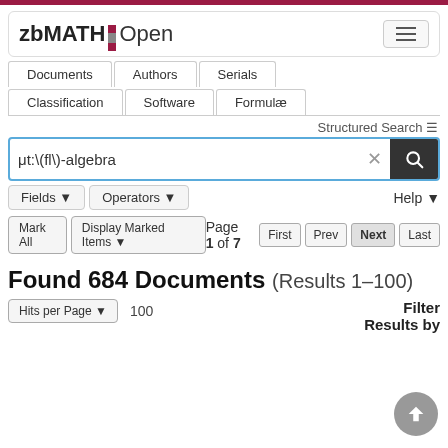zbMATH Open
Documents | Authors | Serials | Classification | Software | Formulae
Structured Search
ut:\(fl\)-algebra
Fields ▾  Operators ▾  Help ▾
Mark All  Display Marked Items ▾
Page 1 of 7  First  Prev  Next  Last
Found 684 Documents (Results 1–100)
Hits per Page ▾  100  Filter Results by